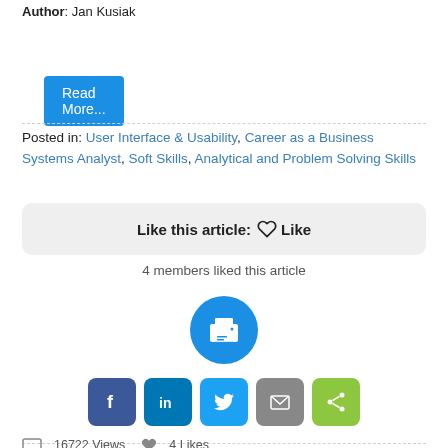Author: Jan Kusiak
Read More...
Posted in: User Interface & Usability, Career as a Business Systems Analyst, Soft Skills, Analytical and Problem Solving Skills
Like this article:  Like
4 members liked this article
[Figure (illustration): Print button icon - blue circle with white printer icon]
[Figure (illustration): Social share buttons row: Facebook (dark blue f), LinkedIn (blue in), Twitter (light blue bird), Email (gray envelope), Share (green arrows)]
16722 Views  4 Likes